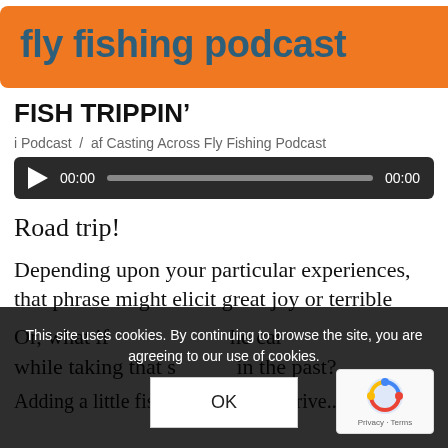[Figure (logo): Orange rounded rectangle banner with 'fly fishing podcast' text in teal/dark blue bold font]
FISH TRIPPIN’
i Podcast / af Casting Across Fly Fishing Podcast
[Figure (other): Audio player with play button, time display 00:00, progress bar, and end time 00:00 on dark background]
Road trip!
Depending upon your particular experiences, that phrase might elicit great joy or terrible
Or, what if                                               he car while taking that s                       in the past?
Adding a little fishing to a longer drive...
This site uses cookies. By continuing to browse the site, you are agreeing to our use of cookies.
OK